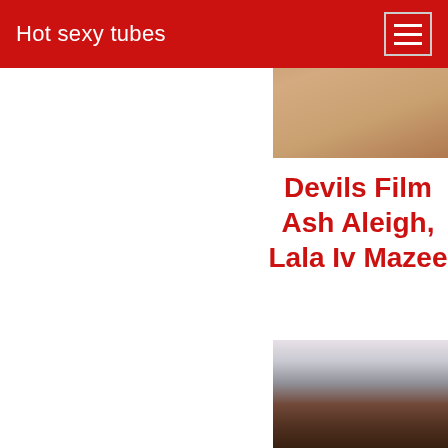Hot sexy tubes
[Figure (photo): Partial photo visible at top right, warm skin tones with wooden floor background]
Devils Film Ash Aleigh, Lala Iv Mazee
[Figure (photo): Young Black woman posing in navy blue lingerie set (bra and thong) against white background with plant]